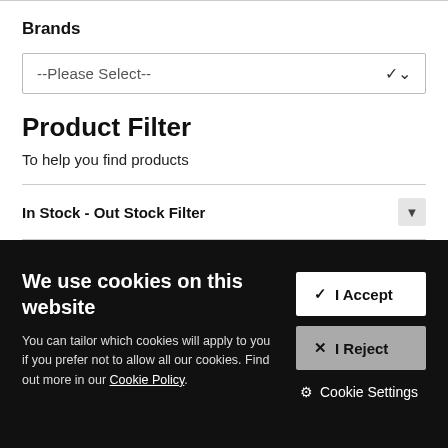Brands
[Figure (screenshot): Dropdown select box with placeholder '--Please Select--' and a chevron arrow]
Product Filter
To help you find products
In Stock - Out Stock Filter
We use cookies on this website
You can tailor which cookies will apply to you if you prefer not to allow all our cookies. Find out more in our Cookie Policy.
✔ I Accept
✖ I Reject
⚙ Cookie Settings